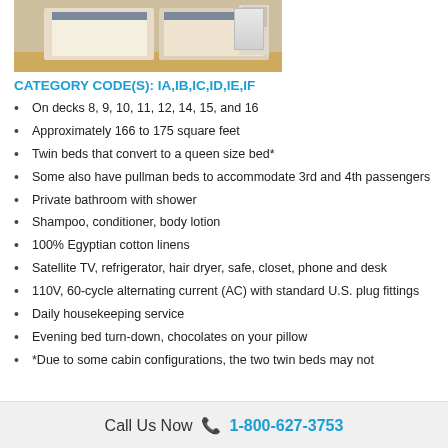[Figure (photo): Hotel/cruise cabin room with twin beds covered in white linens, beige walls, and a nightstand visible in the background]
CATEGORY CODE(S): IA,IB,IC,ID,IE,IF
On decks 8, 9, 10, 11, 12, 14, 15, and 16
Approximately 166 to 175 square feet
Twin beds that convert to a queen size bed*
Some also have pullman beds to accommodate 3rd and 4th passengers
Private bathroom with shower
Shampoo, conditioner, body lotion
100% Egyptian cotton linens
Satellite TV, refrigerator, hair dryer, safe, closet, phone and desk
110V, 60-cycle alternating current (AC) with standard U.S. plug fittings
Daily housekeeping service
Evening bed turn-down, chocolates on your pillow
*Due to some cabin configurations, the two twin beds may not
Call Us Now 📞 1-800-627-3753